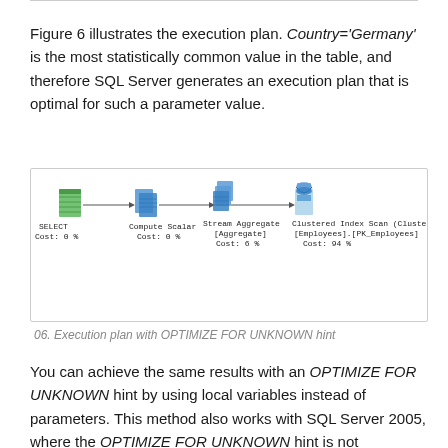Figure 6 illustrates the execution plan. Country='Germany' is the most statistically common value in the table, and therefore SQL Server generates an execution plan that is optimal for such a parameter value.
[Figure (screenshot): SQL Server execution plan showing: SELECT Cost: 0% → Compute Scalar Cost: 0% → Stream Aggregate [Aggregate] Cost: 6% → Clustered Index Scan (Cluster... [Employees].[PK_Employees] Cost: 94%]
06. Execution plan with OPTIMIZE FOR UNKNOWN hint
You can achieve the same results with an OPTIMIZE FOR UNKNOWN hint by using local variables instead of parameters. This method also works with SQL Server 2005, where the OPTIMIZE FOR UNKNOWN hint is not supported. Listing below illustrates that approach. It introduces the same